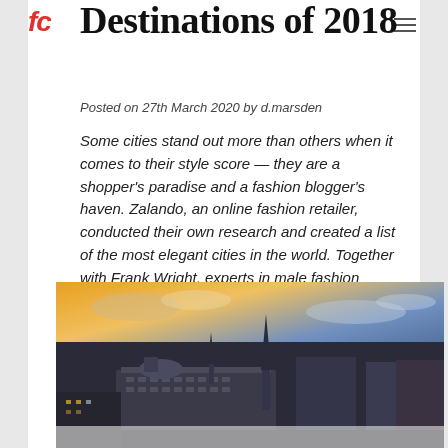Destinations of 2018
Posted on 27th March 2020 by d.marsden
Some cities stand out more than others when it comes to their style score — they are a shopper's paradise and a fashion blogger's haven. Zalando, an online fashion retailer, conducted their own research and created a list of the most elegant cities in the world. Together with Frank Wright, experts in male fashion and...
[Figure (photo): Aerial panoramic view of a European city at sunset, showing historic buildings, a Gothic cathedral spire, and orange sky. Likely Vienna, Austria.]